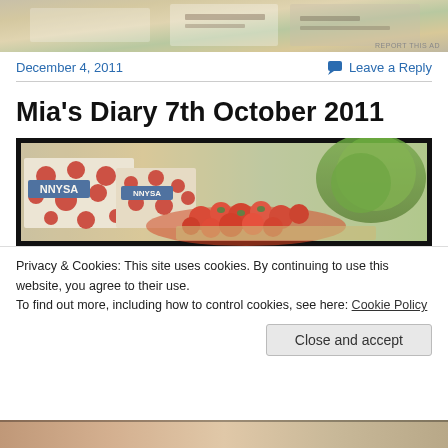[Figure (photo): Advertisement banner image with colorful background at top of page]
REPORT THIS AD
December 4, 2011
Leave a Reply
Mia's Diary 7th October 2011
[Figure (photo): Grocery store produce section showing tomatoes and vegetables with NNYSA branded packaging with red polka dots]
Privacy & Cookies: This site uses cookies. By continuing to use this website, you agree to their use.
To find out more, including how to control cookies, see here: Cookie Policy
Close and accept
[Figure (photo): Partial image of another photo at the bottom of the page]